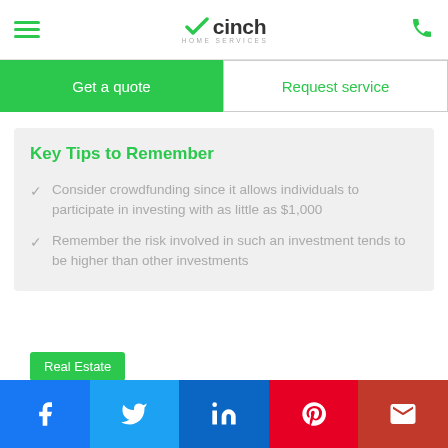Cinch Home Services
Get a quote | Request service
Key Tips to Remember
Consider crowdfunding since it allows individuals to participate in investing with as little as $1,000
Remember the risk involved in such an investment tends to be higher than other investments
Real Estate
Social share buttons: Facebook, Twitter, LinkedIn, Pinterest, Gmail